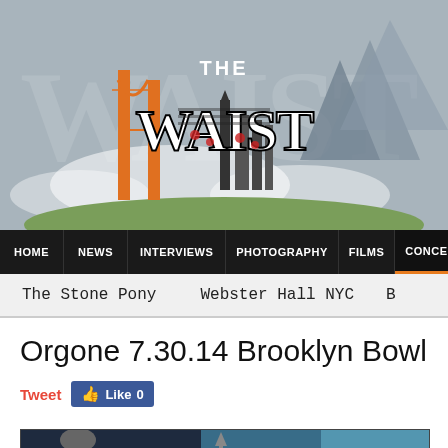[Figure (photo): Website banner/header for 'The Waist' music publication, showing stylized logo with decorative lettering over a cityscape/mountain background]
[Figure (screenshot): Navigation bar with: HOME, NEWS, INTERVIEWS, PHOTOGRAPHY, FILMS, CONCERT RE[VIEWS]]
[Figure (screenshot): Secondary navigation bar showing: The Stone Pony, Webster Hall NYC, B[rooklyn Bowl]]
Orgone 7.30.14 Brooklyn Bowl
Tweet   Like 0
[Figure (photo): Bottom portion of a concert photo, showing dark stage lighting with teal/blue background]